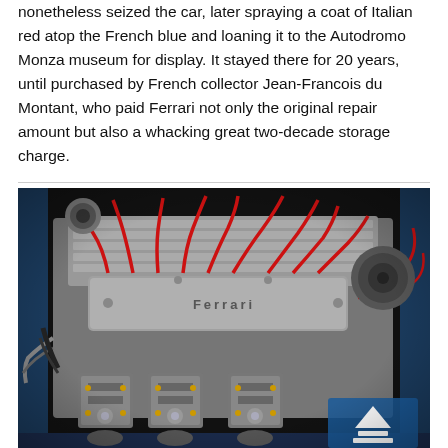nonetheless seized the car, later spraying a coat of Italian red atop the French blue and loaning it to the Autodromo Monza museum for display. It stayed there for 20 years, until purchased by French collector Jean-Francois du Montant, who paid Ferrari not only the original repair amount but also a whacking great two-decade storage charge.
[Figure (photo): Close-up photograph of a Ferrari engine bay showing a classic V12 or inline engine with red spark plug wires, Ferrari-branded valve cover, carburetors at the bottom, and various engine components. The engine appears to be in a car with blue bodywork visible at the edges.]